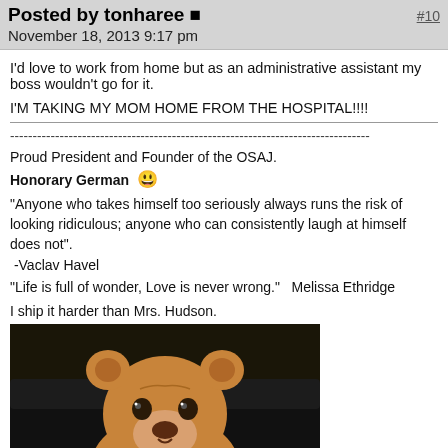Posted by tonharee  #10
November 18, 2013 9:17 pm
I'd love to work from home but as an administrative assistant my boss wouldn't go for it.

I'M TAKING MY MOM HOME FROM THE HOSPITAL!!!!
--------------------------------------------------------------------------------
Proud President and Founder of the OSAJ.
Honorary German 😀
"Anyone who takes himself too seriously always runs the risk of looking ridiculous; anyone who can consistently laugh at himself does not".
 -Vaclav Havel
"Life is full of wonder, Love is never wrong."   Melissa Ethridge

I ship it harder than Mrs. Hudson.
[Figure (photo): Photo of a stuffed teddy bear wearing a white knit sweater, photographed against a dark background]